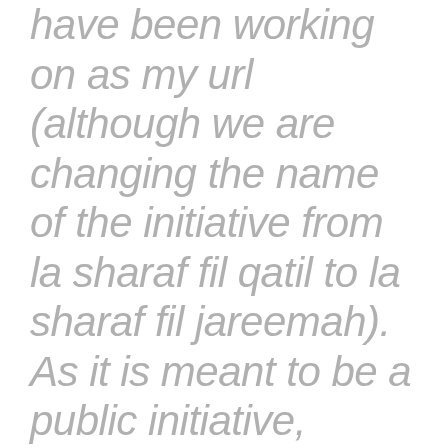have been working on as my url (although we are changing the name of the initiative from la sharaf fil qatil to la sharaf fil jareemah). As it is meant to be a public initiative, anyone with ideas and suggestions is welcome to join in on our brainstorming session